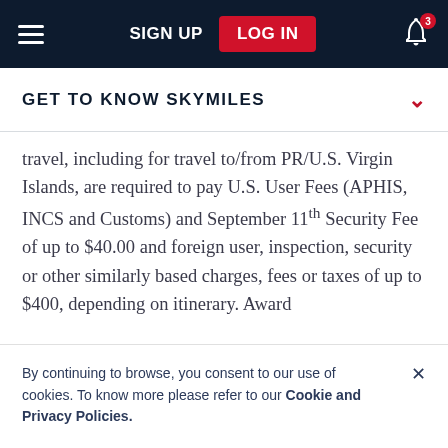SIGN UP  LOG IN
GET TO KNOW SKYMILES
travel, including for travel to/from PR/U.S. Virgin Islands, are required to pay U.S. User Fees (APHIS, INCS and Customs) and September 11th Security Fee of up to $40.00 and foreign user, inspection, security or other similarly based charges, fees or taxes of up to $400, depending on itinerary. Award
By continuing to browse, you consent to our use of cookies. To know more please refer to our Cookie and Privacy Policies.